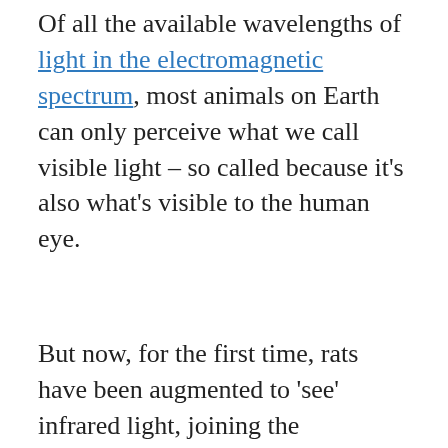Of all the available wavelengths of light in the electromagnetic spectrum, most animals on Earth can only perceive what we call visible light – so called because it's also what's visible to the human eye.
But now, for the first time, rats have been augmented to 'see' infrared light, joining the